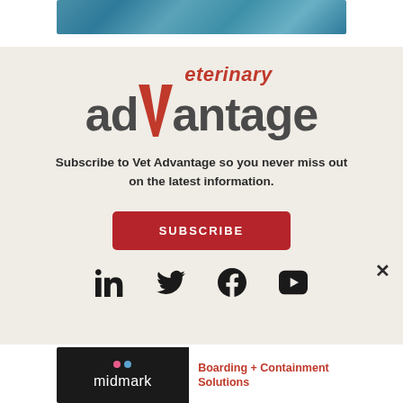[Figure (photo): Decorative top banner image with teal/blue marbled texture]
[Figure (logo): Veterinary adVantage logo with red checkmark V replacing the V in advantage and red italic Veterinary text above]
Subscribe to Vet Advantage so you never miss out on the latest information.
[Figure (other): Red SUBSCRIBE button]
[Figure (other): Social media icons: LinkedIn, Twitter, Facebook, YouTube]
[Figure (other): Midmark advertisement banner showing Boarding + Containment Solutions text with midmark logo]